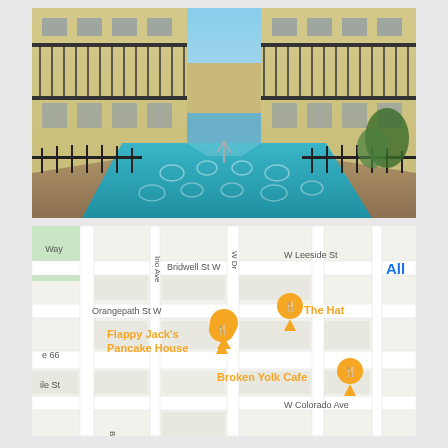[Figure (photo): Hotel courtyard with outdoor swimming pool flanked by two-story motel buildings with balconies. Blue sky visible, pool water is turquoise with lane markers visible on the bottom.]
[Figure (map): Google Maps screenshot showing nearby restaurants: Flappy Jack's Pancake House, The Hat, and Broken Yolk Cafe marked with orange food/restaurant pins. Streets visible include Bridwell St W, Orangepath St W, W Leeside St, W Colorado Ave, Ino Ave, W Dr, Barranc. Blue 'All' label in upper right.]